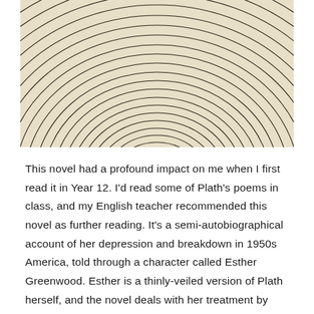[Figure (illustration): Close-up photograph of concentric circular rings on a wood cross-section or tree rings pattern, rendered in beige/cream and dark brown tones, showing dense overlapping elliptical arcs filling the frame.]
This novel had a profound impact on me when I first read it in Year 12. I'd read some of Plath's poems in class, and my English teacher recommended this novel as further reading. It's a semi-autobiographical account of her depression and breakdown in 1950s America, told through a character called Esther Greenwood. Esther is a thinly-veiled version of Plath herself, and the novel deals with her treatment by electric shock following a